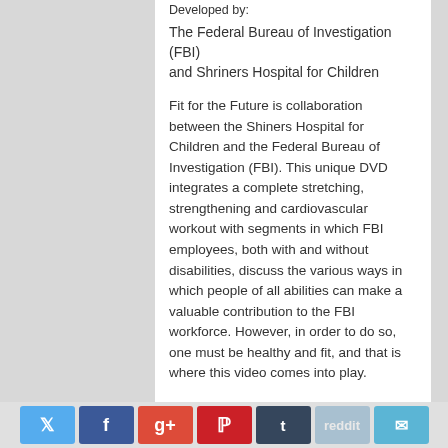Developed by:
The Federal Bureau of Investigation (FBI) and Shriners Hospital for Children
Fit for the Future is collaboration between the Shiners Hospital for Children and the Federal Bureau of Investigation (FBI). This unique DVD integrates a complete stretching, strengthening and cardiovascular workout with segments in which FBI employees, both with and without disabilities, discuss the various ways in which people of all abilities can make a valuable contribution to the FBI workforce. However, in order to do so, one must be healthy and fit, and that is where this video comes into play.
The exercise segments of the video feature a diverse range of adults and children of varying abilities; the set and music are pleasant and unobtrusive. The video is
Social share buttons: Twitter, Facebook, Google+, Pinterest, Tumblr, Reddit, Email